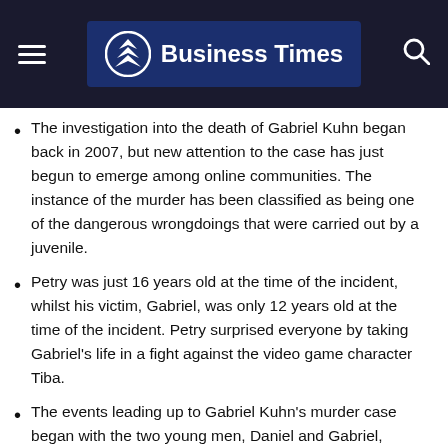Business Times
The investigation into the death of Gabriel Kuhn began back in 2007, but new attention to the case has just begun to emerge among online communities. The instance of the murder has been classified as being one of the dangerous wrongdoings that were carried out by a juvenile.
Petry was just 16 years old at the time of the incident, whilst his victim, Gabriel, was only 12 years old at the time of the incident. Petry surprised everyone by taking Gabriel's life in a fight against the video game character Tiba.
The events leading up to Gabriel Kuhn's murder case began with the two young men, Daniel and Gabriel, becoming acquainted with one another on the gaming entry of 'Tibia.' Because the two originated from the same general region, they were acquainted with one another. Blumenau, Brazil was the location of the two young men's